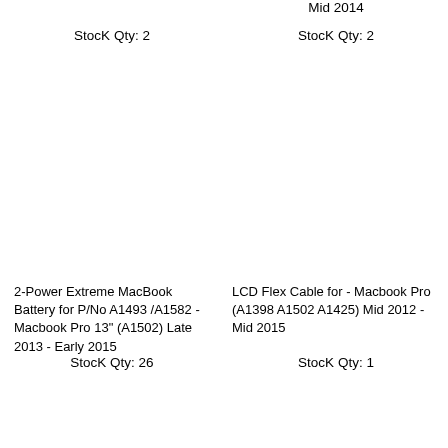Mid 2014
StocK Qty: 2
StocK Qty: 2
2-Power Extreme MacBook Battery for P/No A1493 /A1582 - Macbook Pro 13" (A1502) Late 2013 - Early 2015
LCD Flex Cable for - Macbook Pro (A1398 A1502 A1425) Mid 2012 - Mid 2015
StocK Qty: 26
StocK Qty: 1